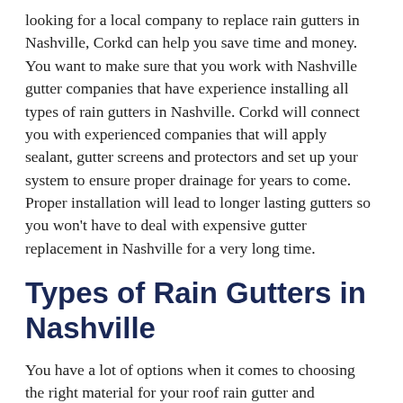looking for a local company to replace rain gutters in Nashville, Corkd can help you save time and money. You want to make sure that you work with Nashville gutter companies that have experience installing all types of rain gutters in Nashville. Corkd will connect you with experienced companies that will apply sealant, gutter screens and protectors and set up your system to ensure proper drainage for years to come. Proper installation will lead to longer lasting gutters so you won't have to deal with expensive gutter replacement in Nashville for a very long time.
Types of Rain Gutters in Nashville
You have a lot of options when it comes to choosing the right material for your roof rain gutter and downspout in Nashville. Here are the most common